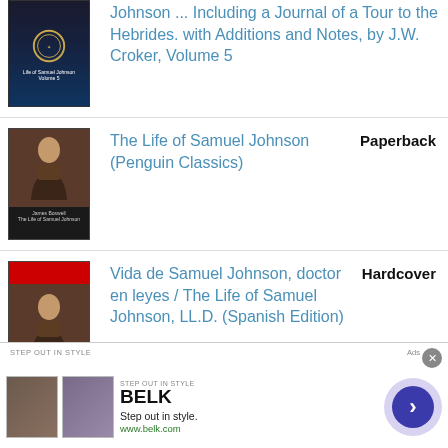[Figure (other): Book cover for Life of Samuel Johnson Volume 5, dark blue with wreath]
Johnson ... Including a Journal of a Tour to the Hebrides. with Additions and Notes, by J.W. Croker, Volume 5
[Figure (other): Book cover for The Life of Samuel Johnson Penguin Classics, dark cover with portrait]
The Life of Samuel Johnson (Penguin Classics)
Paperback
[Figure (other): Book cover for Vida de Samuel Johnson with red stripe and portrait]
Vida de Samuel Johnson, doctor en leyes / The Life of Samuel Johnson, LL.D. (Spanish Edition)
Hardcover
[Figure (other): Belk advertisement banner: Step out in style. www.belk.com]